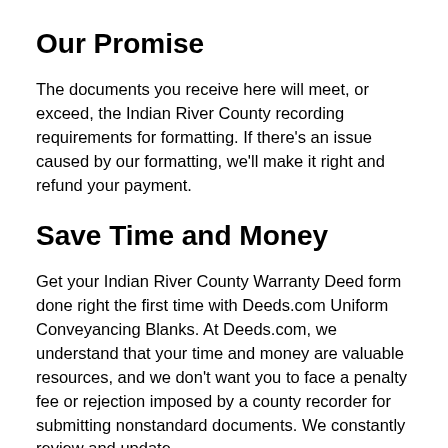Our Promise
The documents you receive here will meet, or exceed, the Indian River County recording requirements for formatting. If there's an issue caused by our formatting, we'll make it right and refund your payment.
Save Time and Money
Get your Indian River County Warranty Deed form done right the first time with Deeds.com Uniform Conveyancing Blanks. At Deeds.com, we understand that your time and money are valuable resources, and we don't want you to face a penalty fee or rejection imposed by a county recorder for submitting nonstandard documents. We constantly review and update